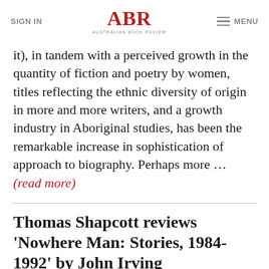SIGN IN | ABR Australian Book Review | MENU
it), in tandem with a perceived growth in the quantity of fiction and poetry by women, titles reflecting the ethnic diversity of origin in more and more writers, and a growth industry in Aboriginal studies, has been the remarkable increase in sophistication of approach to biography. Perhaps more … (read more)
Thomas Shapcott reviews 'Nowhere Man: Stories, 1984-1992' by John Irving
December 1992, no. 147 • 01 December 1992